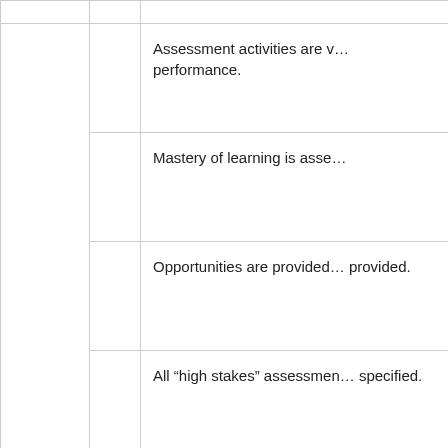|  |  | Assessment activities are v... performance. |
|  |  | Mastery of learning is asse... |
|  |  | Opportunities are provided... provided. |
|  |  | All “high stakes” assessmen... specified. |
|  |  |  |
| Grading |  | The point value or grading... |